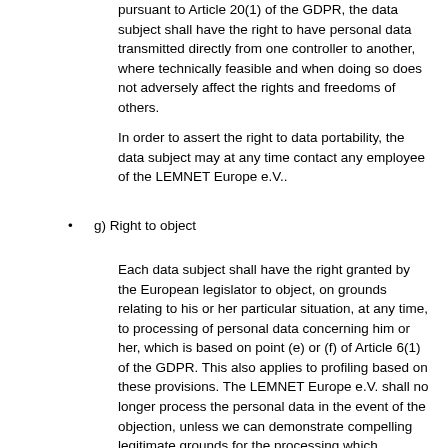pursuant to Article 20(1) of the GDPR, the data subject shall have the right to have personal data transmitted directly from one controller to another, where technically feasible and when doing so does not adversely affect the rights and freedoms of others.
In order to assert the right to data portability, the data subject may at any time contact any employee of the LEMNET Europe e.V..
g) Right to object
Each data subject shall have the right granted by the European legislator to object, on grounds relating to his or her particular situation, at any time, to processing of personal data concerning him or her, which is based on point (e) or (f) of Article 6(1) of the GDPR. This also applies to profiling based on these provisions. The LEMNET Europe e.V. shall no longer process the personal data in the event of the objection, unless we can demonstrate compelling legitimate grounds for the processing which override the interests, rights and freedoms of the data subject, or for the establishment, exercise or defence of legal claims.
If the LEMNET Europe e.V. processes personal data for direct marketing purposes, the data subject shall have the right to object at any time to processing of personal data concerning him or her for such marketing. This applies to profiling to the extent that it is related to such direct marketing. If the data subject objects to the LEMNET Europe e.V. the processing for direct marketing,